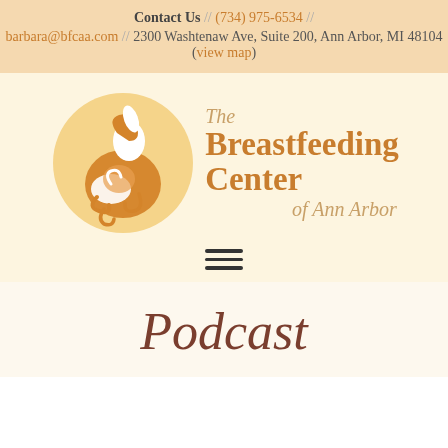Contact Us // (734) 975-6534 // barbara@bfcaa.com // 2300 Washtenaw Ave, Suite 200, Ann Arbor, MI 48104 (view map)
[Figure (logo): The Breastfeeding Center of Ann Arbor logo — circular golden badge with stylized mother and child silhouette in orange/white, next to text reading 'The Breastfeeding Center of Ann Arbor' in orange and golden italic serif font]
Podcast